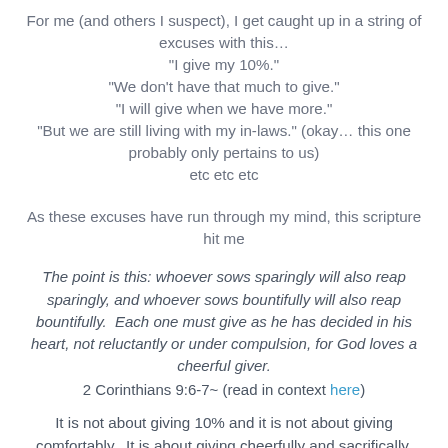For me (and others I suspect), I get caught up in a string of excuses with this…
"I give my 10%."
"We don't have that much to give."
"I will give when we have more."
"But we are still living with my in-laws." (okay… this one probably only pertains to us)
etc etc etc
As these excuses have run through my mind, this scripture hit me
The point is this: whoever sows sparingly will also reap sparingly, and whoever sows bountifully will also reap bountifully.  Each one must give as he has decided in his heart, not reluctantly or under compulsion, for God loves a cheerful giver.
2 Corinthians 9:6-7~ (read in context here)
It is not about giving 10% and it is not about giving comfortably.  It is about giving cheerfully and sacrifically.
Tweet this!